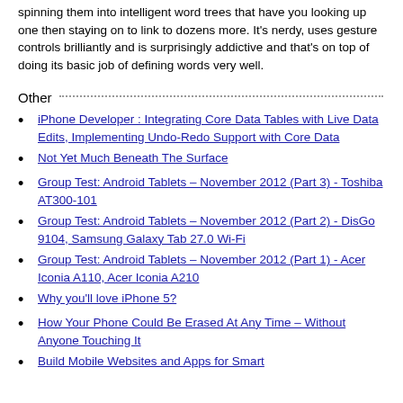spinning them into intelligent word trees that have you looking up one then staying on to link to dozens more. It's nerdy, uses gesture controls brilliantly and is surprisingly addictive and that's on top of doing its basic job of defining words very well.
Other
iPhone Developer : Integrating Core Data Tables with Live Data Edits, Implementing Undo-Redo Support with Core Data
Not Yet Much Beneath The Surface
Group Test: Android Tablets – November 2012 (Part 3) - Toshiba AT300-101
Group Test: Android Tablets – November 2012 (Part 2) - DisGo 9104, Samsung Galaxy Tab 27.0 Wi-Fi
Group Test: Android Tablets – November 2012 (Part 1) - Acer Iconia A110, Acer Iconia A210
Why you'll love iPhone 5?
How Your Phone Could Be Erased At Any Time – Without Anyone Touching It
Build Mobile Websites and Apps for Smart